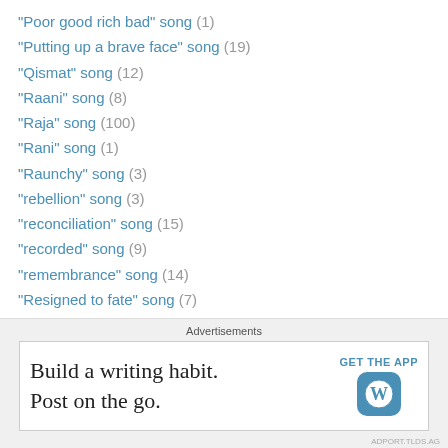"Poor good rich bad" song (1)
"Putting up a brave face" song (19)
"Qismat" song (12)
"Raani" song (8)
"Raja" song (100)
"Rani" song (1)
"Raunchy" song (3)
"rebellion" song (3)
"reconciliation" song (15)
"recorded" song (9)
"remembrance" song (14)
"Resigned to fate" song (7)
"saawan" song (112)
"Sacrificing in love" song (7)
"sahelis teasing a lady" song (2)
"Sales pitch" song (86)
Advertisements
[Figure (other): WordPress app advertisement: 'Build a writing habit. Post on the go.' with GET THE APP button and WordPress logo]